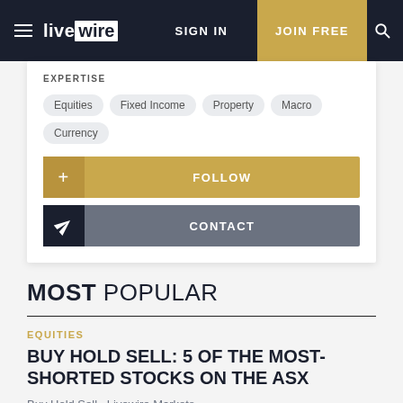livewire | SIGN IN | JOIN FREE
EXPERTISE
Equities
Fixed Income
Property
Macro
Currency
FOLLOW
CONTACT
MOST POPULAR
EQUITIES
BUY HOLD SELL: 5 OF THE MOST-SHORTED STOCKS ON THE ASX
Buy Hold Sell,  Livewire Markets